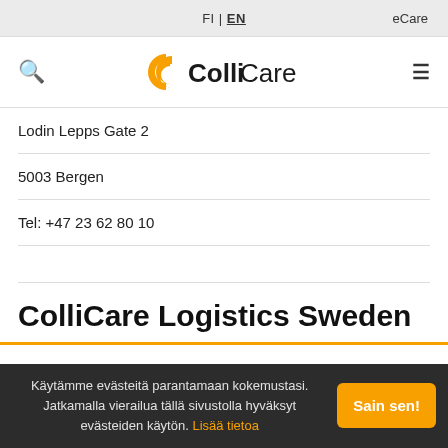FI | EN   eCare
[Figure (logo): ColliCare logo with orange C icon and hamburger menu/search icons]
Lodin Lepps Gate 2
5003 Bergen
Tel: +47 23 62 80 10
ColliCare Logistics Sweden
[Figure (illustration): Orange gear/settings icon]
Käytämme evästeitä parantamaan kokemustasi. Jatkamalla vierailua tällä sivustolla hyväksyt evästeiden käytön. Lisää tietoa